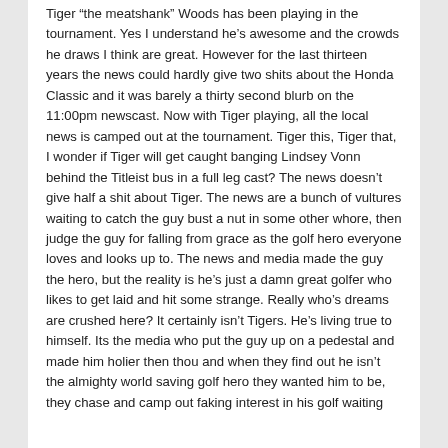Tiger “the meatshank” Woods has been playing in the tournament. Yes I understand he’s awesome and the crowds he draws I think are great. However for the last thirteen years the news could hardly give two shits about the Honda Classic and it was barely a thirty second blurb on the 11:00pm newscast. Now with Tiger playing, all the local news is camped out at the tournament. Tiger this, Tiger that, I wonder if Tiger will get caught banging Lindsey Vonn behind the Titleist bus in a full leg cast? The news doesn’t give half a shit about Tiger. The news are a bunch of vultures waiting to catch the guy bust a nut in some other whore, then judge the guy for falling from grace as the golf hero everyone loves and looks up to. The news and media made the guy the hero, but the reality is he’s just a damn great golfer who likes to get laid and hit some strange. Really who’s dreams are crushed here? It certainly isn’t Tigers. He’s living true to himself. Its the media who put the guy up on a pedestal and made him holier then thou and when they find out he isn’t the almighty world saving golf hero they wanted him to be, they chase and camp out faking interest in his golf waiting